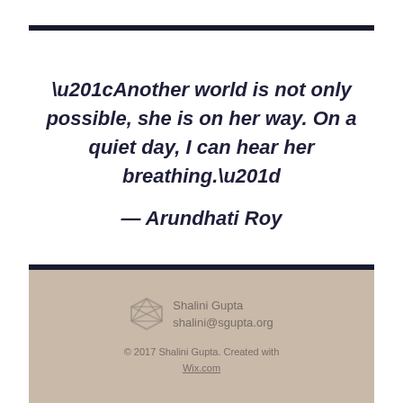“Another world is not only possible, she is on her way. On a quiet day, I can hear her breathing.”
— Arundhati Roy
Shalini Gupta
shalini@sgupta.org
© 2017 Shalini Gupta. Created with Wix.com